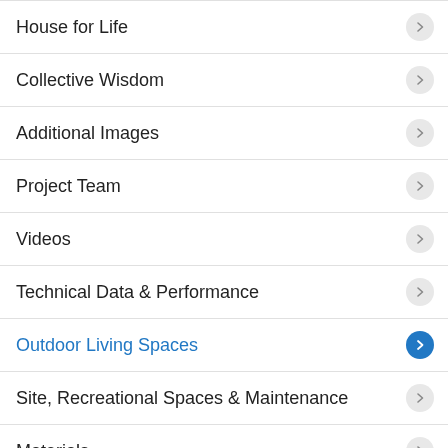House for Life
Collective Wisdom
Additional Images
Project Team
Videos
Technical Data & Performance
Outdoor Living Spaces
Site, Recreational Spaces & Maintenance
Materials